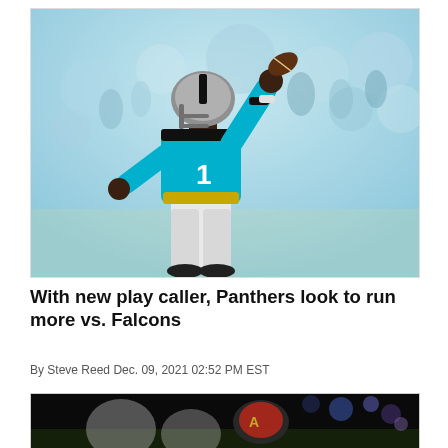[Figure (photo): Carolina Panthers quarterback #1 in teal/blue uniform winding up to throw a pass, stadium crowd in background]
With new play caller, Panthers look to run more vs. Falcons
By Steve Reed Dec. 09, 2021 02:52 PM EST
[Figure (photo): Partial photo of an Atlanta Falcons player, dark background, bottom of page]